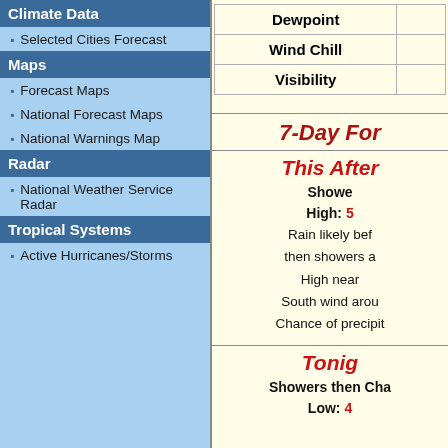Climate Data
Selected Cities Forecast
Maps
Forecast Maps
National Forecast Maps
National Warnings Map
Radar
National Weather Service Radar
Tropical Systems
Active Hurricanes/Storms
|  |  |
| --- | --- |
| Dewpoint |  |
| Wind Chill |  |
| Visibility |  |
7-Day For...
This Afte...
Showers... High: 5...
Rain likely bef... then showers a... High near... South wind arou... Chance of precipit...
Tonig...
Showers then Cha... Low: 4...